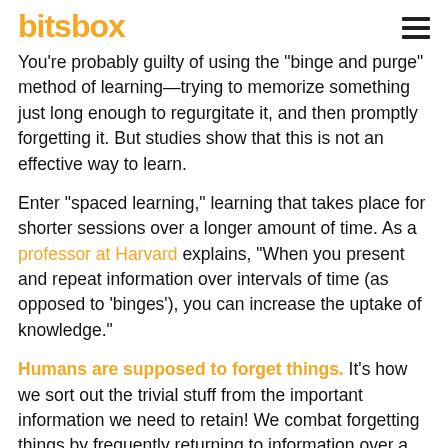bitsbox
You're probably guilty of using the "binge and purge" method of learning—trying to memorize something just long enough to regurgitate it, and then promptly forgetting it. But studies show that this is not an effective way to learn.
Enter "spaced learning," learning that takes place for shorter sessions over a longer amount of time. As a professor at Harvard explains, "When you present and repeat information over intervals of time (as opposed to 'binges'), you can increase the uptake of knowledge."
Humans are supposed to forget things. It's how we sort out the trivial stuff from the important information we need to retain! We combat forgetting things by frequently returning to information over a longer period of time, and